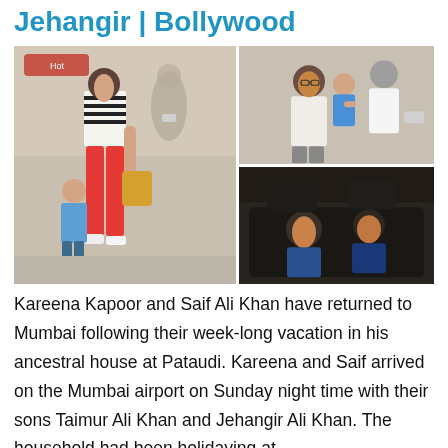Jehangir | Bollywood
[Figure (photo): Three photos: left shows Kareena Kapoor in striped top and red pants walking with son Taimur at airport; top right shows a woman holding a toddler at an airport; bottom right shows two children in the back seat of a car at night.]
Kareena Kapoor and Saif Ali Khan have returned to Mumbai following their week-long vacation in his ancestral house at Pataudi. Kareena and Saif arrived on the Mumbai airport on Sunday night time with their sons Taimur Ali Khan and Jehangir Ali Khan. The household had been holidaying at